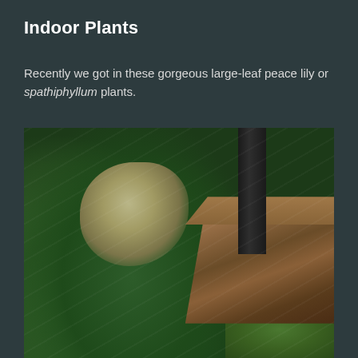Indoor Plants
Recently we got in these gorgeous large-leaf peace lily or spathiphyllum plants.
[Figure (photo): Close-up photograph of large-leaf spathiphyllum (peace lily) plants in cream/beige pots placed outdoors on artificial grass near a wooden bench and dark metal post, with a dark blue-grey wall in the background.]